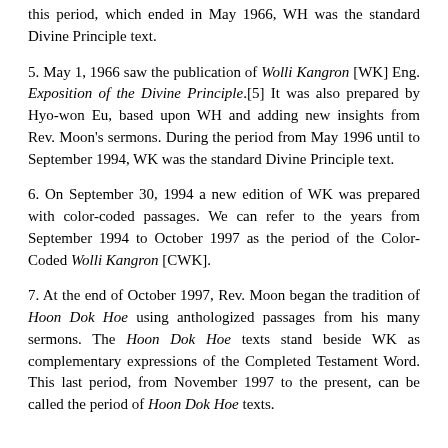this period, which ended in May 1966, WH was the standard Divine Principle text.
5. May 1, 1966 saw the publication of Wolli Kangron [WK] Eng. Exposition of the Divine Principle.[5] It was also prepared by Hyo-won Eu, based upon WH and adding new insights from Rev. Moon's sermons. During the period from May 1996 until to September 1994, WK was the standard Divine Principle text.
6. On September 30, 1994 a new edition of WK was prepared with color-coded passages. We can refer to the years from September 1994 to October 1997 as the period of the Color-Coded Wolli Kangron [CWK].
7. At the end of October 1997, Rev. Moon began the tradition of Hoon Dok Hoe using anthologized passages from his many sermons. The Hoon Dok Hoe texts stand beside WK as complementary expressions of the Completed Testament Word. This last period, from November 1997 to the present, can be called the period of Hoon Dok Hoe texts.